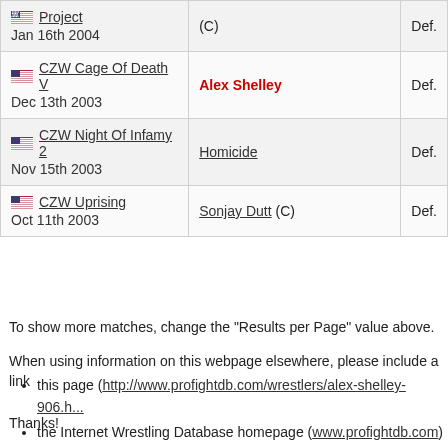| Event | Opponent | Result |
| --- | --- | --- |
| Project
Jan 16th 2004 | (C) | Def. |
| CZW Cage Of Death V
Dec 13th 2003 | Alex Shelley | Def. |
| CZW Night Of Infamy 2
Nov 15th 2003 | Homicide | Def. |
| CZW Uprising
Oct 11th 2003 | Sonjay Dutt (C) | Def. |
To show more matches, change the "Results per Page" value above.
When using information on this webpage elsewhere, please include a link
this page (http://www.profightdb.com/wrestlers/alex-shelley-906.h...
the Internet Wrestling Database homepage (www.profightdb.com)
Thanks!